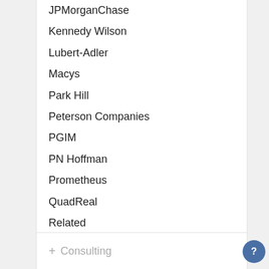JPMorganChase
Kennedy Wilson
Lubert-Adler
Macys
Park Hill
Peterson Companies
PGIM
PN Hoffman
Prometheus
QuadReal
Related
SEO
Skanska USA
Square Mile Capital
USAA Real Estate
+ Consulting